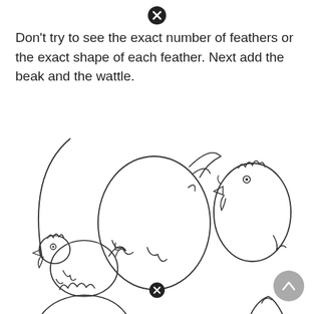[Figure (illustration): Black circle with white X icon at top center of page]
Don't try to see the exact number of feathers or the exact shape of each feather. Next add the beak and the wattle.
[Figure (illustration): Step-by-step drawing tutorial showing chickens/roosters in various stages of completion. Multiple outline drawings of roosters and chickens showing how to build up the drawing progressively.]
[Figure (illustration): Black circle with white X icon near bottom center]
[Figure (illustration): Gray circle scroll-to-top button with upward chevron at bottom right]